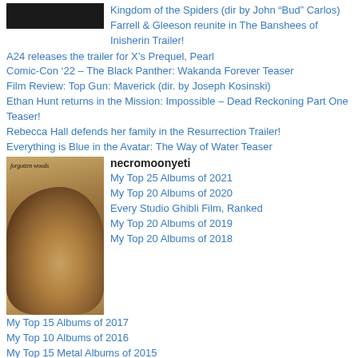[Figure (photo): Dark/black image at top left, partial photo]
Kingdom of the Spiders (dir by John “Bud” Carlos)
Farrell & Gleeson reunite in The Banshees of Inisherin Trailer!
A24 releases the trailer for X’s Prequel, Pearl
Comic-Con ’22 – The Black Panther: Wakanda Forever Teaser
Film Review: Top Gun: Maverick (dir. by Joseph Kosinski)
Ethan Hunt returns in the Mission: Impossible – Dead Reckoning Part One Teaser!
Rebecca Hall defends her family in the Resurrection Trailer!
Everything is Blue in the Avatar: The Way of Water Teaser
[Figure (photo): Sepia-toned photo of a person with short dark hair wearing a black outfit, with text 'forgotten woods' overlay]
necromoonyeti
My Top 25 Albums of 2021
My Top 20 Albums of 2020
Every Studio Ghibli Film, Ranked
My Top 20 Albums of 2019
My Top 20 Albums of 2018
My Top 15 Albums of 2017
My Top 10 Albums of 2016
My Top 15 Metal Albums of 2015
A special Christmas Eve sing-along with your friend, necromoonyeti!